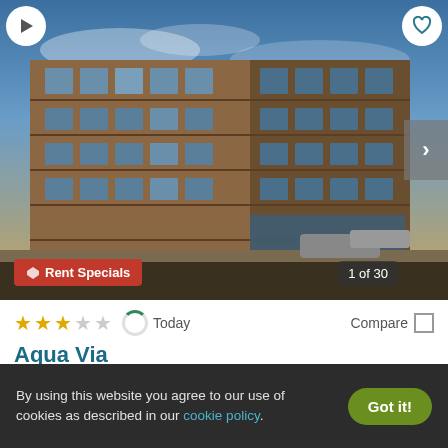[Figure (photo): Exterior photo of Aqua Via apartment building, a large multi-story brick building with many windows, shot from street level at dusk with dramatic sky.]
Rent Specials
1 of 30
★★★☆☆  Today  Compare
Aqua Via
125 2Nd Street, Oakland, CA 94607
✓ 8 Units available   ✓ Verified
Studio   1 BED   2 BEDS
By using this website you agree to our use of cookies as described in our cookie policy.